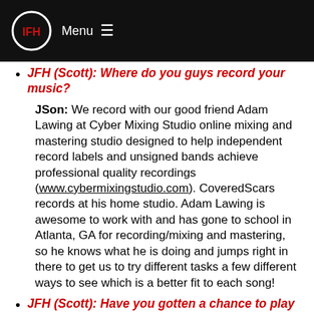Menu
JFH (Scott): Where do you guys record your music?
JSon: We record with our good friend Adam Lawing at Cyber Mixing Studio online mixing and mastering studio designed to help independent record labels and unsigned bands achieve professional quality recordings (www.cybermixingstudio.com). CoveredScars records at his home studio. Adam Lawing is awesome to work with and has gone to school in Atlanta, GA for recording/mixing and mastering, so he knows what he is doing and jumps right in there to get us to try different tasks a few different ways to see which is a better fit to each song!
JFH (Scott): Have you gotten a chance to play any festivals
JSon: You're going to love this, but when